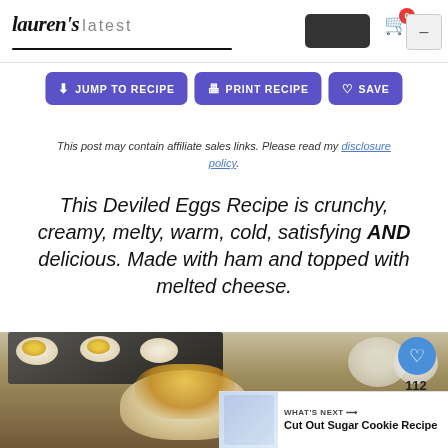Lauren's latest
JUMP TO RECIPE | PRINT RECIPE | SAVE
This post may contain affiliate sales links. Please read my disclosure policy.
This Deviled Eggs Recipe is crunchy, creamy, melty, warm, cold, satisfying AND delicious. Made with ham and topped with melted cheese.
[Figure (photo): Photo of deviled eggs with melted cheese on a dark tray]
112
WHAT'S NEXT → Cut Out Sugar Cookie Recipe